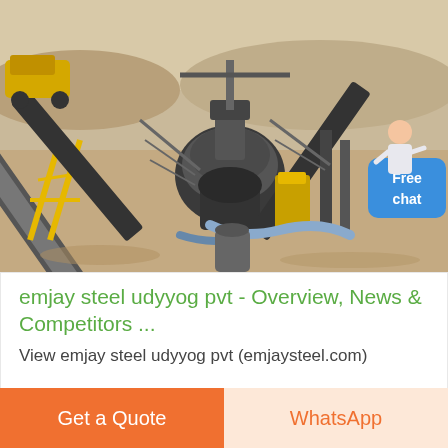[Figure (photo): Aerial view of an industrial stone crushing / mining plant with conveyor belts, crushers, and heavy machinery in a desert/arid environment. A 'Free chat' bubble with a customer service representative icon appears in the upper right of the image.]
emjay steel udyyog pvt - Overview, News & Competitors ...
View emjay steel udyyog pvt (emjaysteel.com)
Get a Quote
WhatsApp